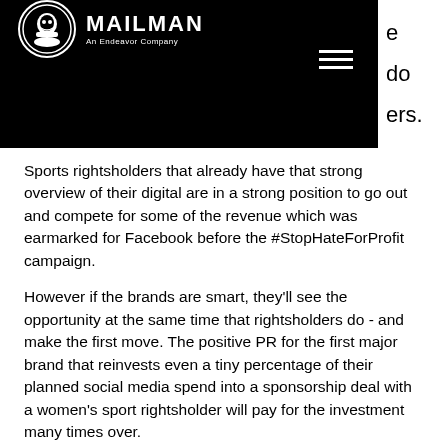MAILMAN An Endeavor Company
Sports rightsholders that already have that strong overview of their digital are in a strong position to go out and compete for some of the revenue which was earmarked for Facebook before the #StopHateForProfit campaign.
However if the brands are smart, they'll see the opportunity at the same time that rightsholders do - and make the first move. The positive PR for the first major brand that reinvests even a tiny percentage of their planned social media spend into a sponsorship deal with a women's sport rightsholder will pay for the investment many times over.